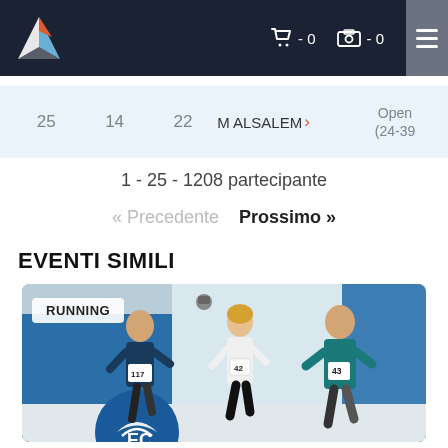Navigation bar with logo, cart (0), photo (0), and menu
| 25 | 14 | 22 | M ALSALEM › | Open (24-39) |
| --- | --- | --- | --- | --- |
1 - 25 - 1208 partecipante
« Precedente   Prossimo »
EVENTI SIMILI
[Figure (photo): Three runners in an indoor venue, wearing race bibs (117, 42, 43), with RUNNING label overlay and EC logo visible]